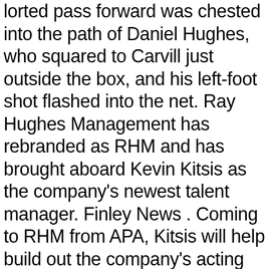lorted pass forward was chested into the path of Daniel Hughes, who squared to Carvill just outside the box, and his left-foot shot flashed into the net. Ray Hughes Management has rebranded as RHM and has brought aboard Kevin Kitsis as the company's newest talent manager. Finley News . Coming to RHM from APA, Kitsis will help build out the company's acting division and service the roster in additional areas including digital, [...] Our sincerest gratitude goes out to the following for ... Clout SUP surf contest. I have always been addicted to the ocean and blame my dad for every bit of it. Perhaps that knowledge of the ocean informed this poem from ... Domestic career.. Deutschland groesstes Surf Magazin mit News, Veranstaltungen, Videos und noch viel mehr Infos rund ums Wellenreiten Join Facebook to connect with Daniel Hughes and others you may know. While Hughes has been SUP surfing for years, this year he hopes will be the